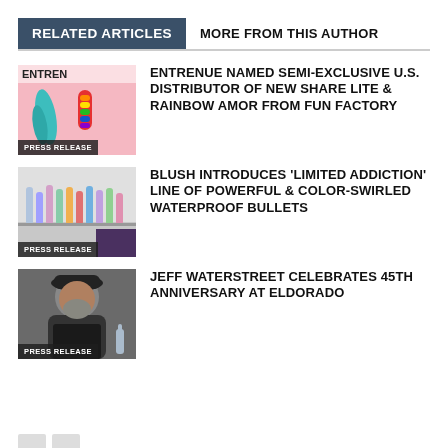RELATED ARTICLES | MORE FROM THIS AUTHOR
[Figure (photo): Product image with ENTREN logo text, pink background with teal and rainbow colored items. Label: PRESS RELEASE]
ENTRENUE NAMED SEMI-EXCLUSIVE U.S. DISTRIBUTOR OF NEW SHARE LITE & RAINBOW AMOR FROM FUN FACTORY
[Figure (photo): Row of colorful bullet vibrators on display stand. Label: PRESS RELEASE]
BLUSH INTRODUCES 'LIMITED ADDICTION' LINE OF POWERFUL & COLOR-SWIRLED WATERPROOF BULLETS
[Figure (photo): Man in dark hat and shirt. Label: PRESS RELEASE]
JEFF WATERSTREET CELEBRATES 45TH ANNIVERSARY AT ELDORADO